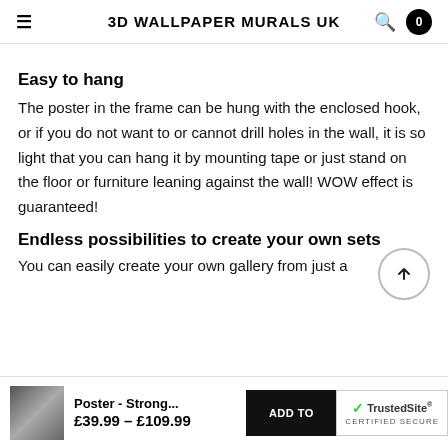3D WALLPAPER MURALS UK
Easy to hang
The poster in the frame can be hung with the enclosed hook, or if you do not want to or cannot drill holes in the wall, it is so light that you can hang it by mounting tape or just stand on the floor or furniture leaning against the wall! WOW effect is guaranteed!
Endless possibilities to create your own sets
You can easily create your own gallery from just a
Poster - Strong... £39.99 – £109.99 ADD TO TrustedSite CERTIFIED SECURE